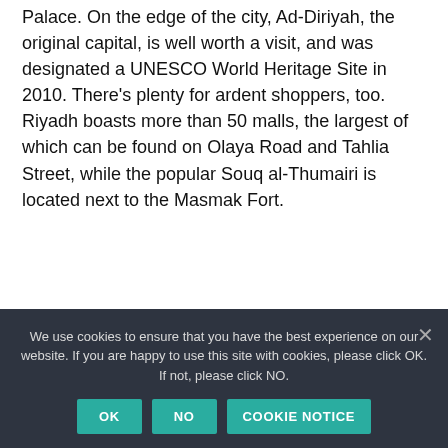Palace. On the edge of the city, Ad-Diriyah, the original capital, is well worth a visit, and was designated a UNESCO World Heritage Site in 2010. There's plenty for ardent shoppers, too. Riyadh boasts more than 50 malls, the largest of which can be found on Olaya Road and Tahlia Street, while the popular Souq al-Thumairi is located next to the Masmak Fort.
CULTURE
[Figure (photo): Partial image strip visible at bottom of page, partially obscured by cookie banner]
We use cookies to ensure that you have the best experience on our website. If you are happy to use this site with cookies, please click OK. If not, please click NO.